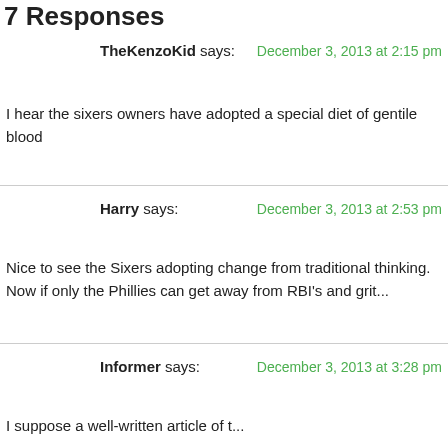7 Responses
TheKenzoKid says:    December 3, 2013 at 2:15 pm
I hear the sixers owners have adopted a special diet of gentile blood
Harry says:    December 3, 2013 at 2:53 pm
Nice to see the Sixers adopting change from traditional thinking.  Now if only the Phillies can get away from RBI's and grit...
Informer says:    December 3, 2013 at 3:28 pm
I suppose a well-written article of two should right for this franchis...